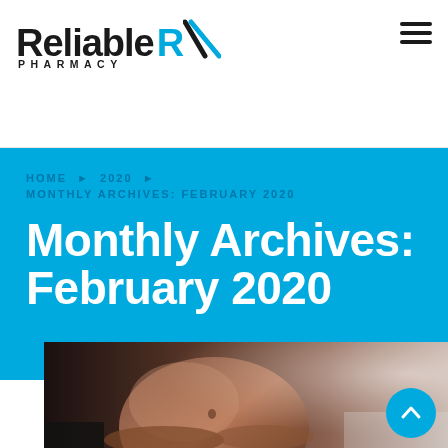Reliable Rx Pharmacy — navigation header with hamburger menu
HOME ▶ 2020 ▶
MONTHLY ARCHIVES: FEBRUARY 2020
Monthly Archives: February 2020
[Figure (photo): Close-up photo of a pregnant woman holding her belly, dark background with light on the right side]